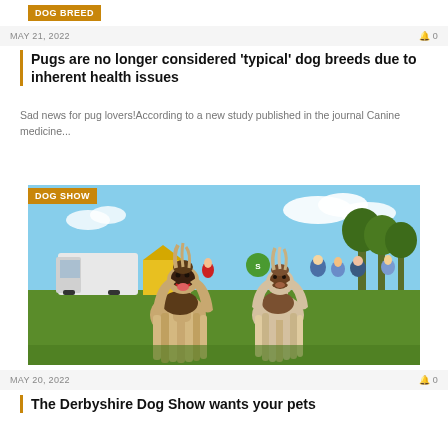DOG BREED
MAY 21, 2022    🔔 0
Pugs are no longer considered 'typical' dog breeds due to inherent health issues
Sad news for pug lovers!According to a new study published in the journal Canine medicine...
DOG SHOW
[Figure (photo): Two Afghan Hound dogs at an outdoor dog show event, standing on green grass with a white truck and crowd in the background under a blue sky]
MAY 20, 2022    🔔 0
The Derbyshire Dog Show wants your pets